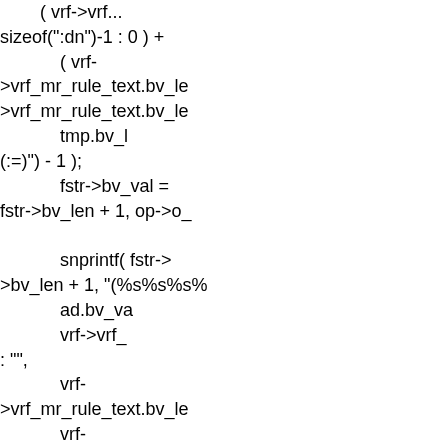( vrf->vrf... sizeof(":dn")-1 : 0 ) +
            ( vrf->vrf_mr_rule_text.bv_le
>vrf_mr_rule_text.bv_le
            tmp.bv_l
(:=)") - 1 );
            fstr->bv_val =
fstr->bv_len + 1, op->o_

            snprintf( fstr->
>bv_len + 1, "(%s%s%s%
            ad.bv_va
            vrf->vrf_
: "",
            vrf->vrf_mr_rule_text.bv_le
            vrf->vrf_mr_rule_text.bv_le
>vrf_mr_rule_text.bv_va
            tmp.bv_v

            ber_memfree_
>o_tmpmemctx );
            } break;